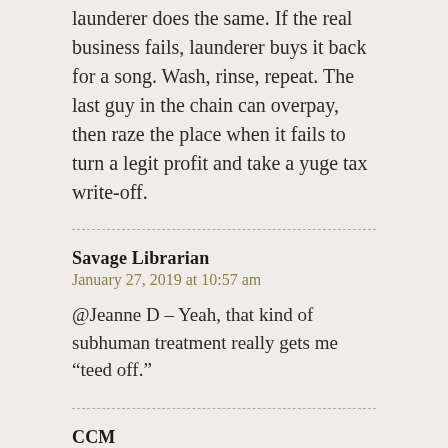launderer does the same.  If the real business fails, launderer buys it back for a song.  Wash, rinse, repeat.  The last guy in the chain can overpay, then raze the place when it fails to turn a legit profit and take a yuge tax write-off.
Savage Librarian
January 27, 2019 at 10:57 am
@Jeanne D – Yeah, that kind of subhuman treatment really gets me “teed off.”
CCM
January 27, 2019 at 11:01 am